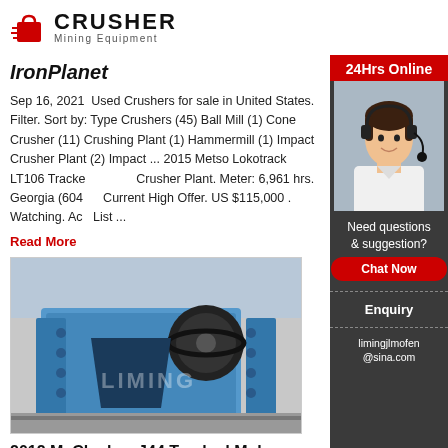CRUSHER Mining Equipment
IronPlanet
Sep 16, 2021  Used Crushers for sale in United States. Filter. Sort by: Type Crushers (45) Ball Mill (1) Cone Crusher (11) Crushing Plant (1) Hammermill (1) Impact Crusher Plant (2) Impact ... 2015 Metso Lokotrack LT106 Tracked Mobile Crusher Plant. Meter: 6,961 hrs. Georgia (604 mi Current High Offer. US $115,000 . Watching. Ac... List ...
Read More
[Figure (photo): Blue jaw crusher machine with LIMING watermark in an industrial setting]
2012 McCloskey J44 Tracked Mobile Crusher in Knoxville ...
[Figure (infographic): Sidebar with 24Hrs Online label, agent photo, Need questions & suggestion?, Chat Now button, Enquiry, limingjlmofen@sina.com]